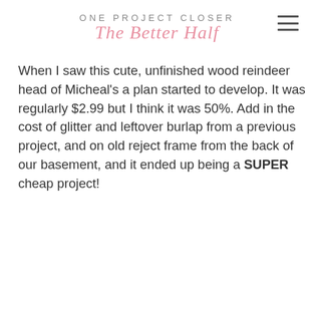ONE PROJECT CLOSER The Better Half
When I saw this cute, unfinished wood reindeer head of Micheal's a plan started to develop. It was regularly $2.99 but I think it was 50%. Add in the cost of glitter and leftover burlap from a previous project, and on old reject frame from the back of our basement, and it ended up being a SUPER cheap project!